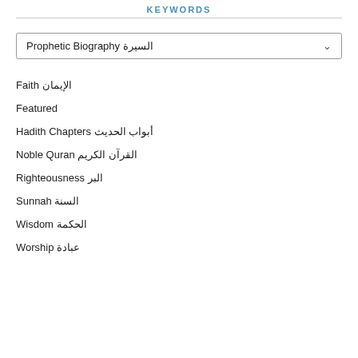KEYWORDS
Prophetic Biography السيرة
Faith الإيمان
Featured
Hadith Chapters أبواب الحديث
Noble Quran القرآن الكريم
Righteousness البر
Sunnah السنة
Wisdom الحكمة
Worship عبادة